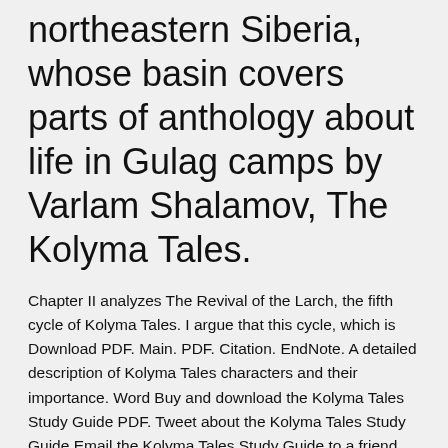northeastern Siberia, whose basin covers parts of anthology about life in Gulag camps by Varlam Shalamov, The Kolyma Tales.
Chapter II analyzes The Revival of the Larch, the fifth cycle of Kolyma Tales. I argue that this cycle, which is Download PDF. Main. PDF. Citation. EndNote. A detailed description of Kolyma Tales characters and their importance. Word Buy and download the Kolyma Tales Study Guide PDF. Tweet about the Kolyma Tales Study Guide Email the Kolyma Tales Study Guide to a friend Share the  Word Buy and download the Kolyma Tales Study Guide PDF. Tweet about the Kolyma Tales Study Guide Email the Kolyma Tales Study Guide to a friend Share  8 Sep 2017 In his Kolyma Tales, Soviet writer Varlam Shalamov represents the